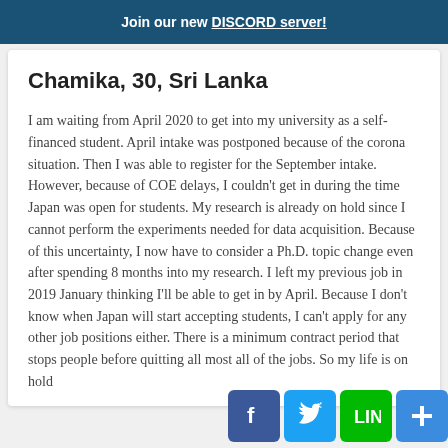Join our new DISCORD server!
Chamika, 30, Sri Lanka
I am waiting from April 2020 to get into my university as a self-financed student. April intake was postponed because of the corona situation. Then I was able to register for the September intake. However, because of COE delays, I couldn't get in during the time Japan was open for students. My research is already on hold since I cannot perform the experiments needed for data acquisition. Because of this uncertainty, I now have to consider a Ph.D. topic change even after spending 8 months into my research. I left my previous job in 2019 January thinking I'll be able to get in by April. Because I don't know when Japan will start accepting students, I can't apply for any other job positions either. There is a minimum contract period that stops people before quitting all most all of the jobs. So my life is on hold since January of 2019. I can now say by just one semester.